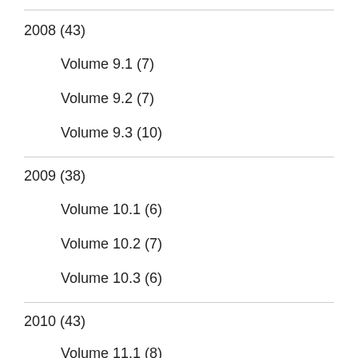2008 (43)
Volume 9.1 (7)
Volume 9.2 (7)
Volume 9.3 (10)
2009 (38)
Volume 10.1 (6)
Volume 10.2 (7)
Volume 10.3 (6)
2010 (43)
Volume 11.1 (8)
Volume 11.2 (7)